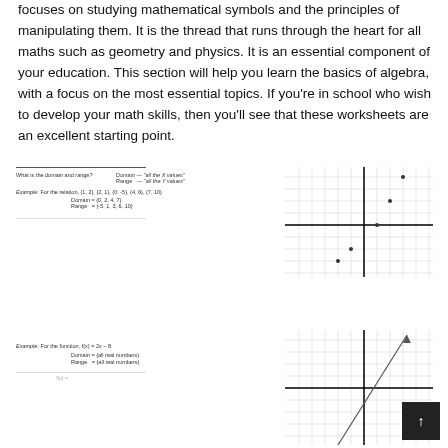focuses on studying mathematical symbols and the principles of manipulating them. It is the thread that runs through the heart for all maths such as geometry and physics. It is an essential component of your education. This section will help you learn the basics of algebra, with a focus on the most essential topics. If you're in school who wish to develop your math skills, then you'll see that these worksheets are an excellent starting point.
[Figure (other): Math worksheet showing domain and range definition: What is the domain and range? Domain = 'all the X values', Range = 'all the Y values'. Example: For the relation, {1,2}, {2,1}, {0,-5}, {4,6}, {7,10} Domain = {0,2,4,7}, Range = {-5,1,3,6,10}. Faded practice exercise text below.]
[Figure (other): Coordinate grid with plotted points (scatter), showing several dots at various positions on a 10x10 grid with x and y axes.]
[Figure (other): Math worksheet example: For the function, f(x) = 2x - 8. Domain = {all real numbers}, Range = {all real numbers}. Faded practice text below.]
[Figure (other): Coordinate grid showing a linear function line drawn diagonally from lower-left to upper-right, representing f(x) = 2x - 8.]